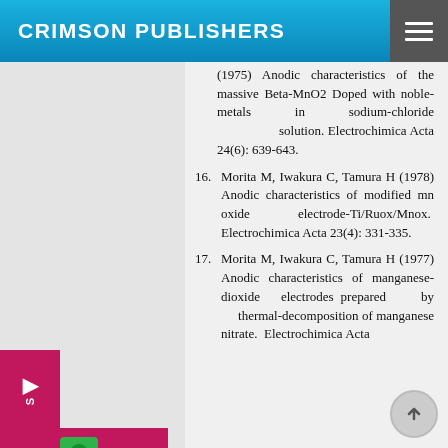CRIMSON PUBLISHERS
(1975) Anodic characteristics of the massive Beta-MnO2 Doped with noble-metals in sodium-chloride solution. Electrochimica Acta 24(6): 639-643.
16. Morita M, Iwakura C, Tamura H (1978) Anodic characteristics of modified mn oxide electrode-Ti/Ruox/Mnox. Electrochimica Acta 23(4): 331-335.
17. Morita M, Iwakura C, Tamura H (1977) Anodic characteristics of manganese-dioxide electrodes prepared by thermal-decomposition of manganese nitrate. Electrochimica Acta